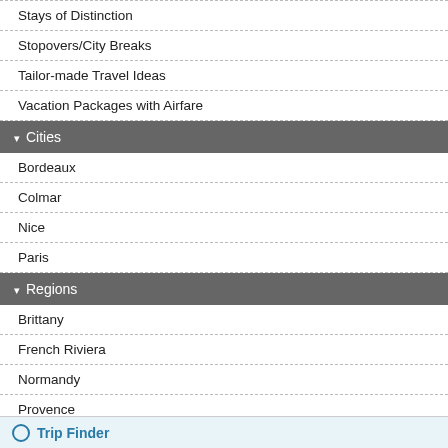Stays of Distinction
Stopovers/City Breaks
Tailor-made Travel Ideas
Vacation Packages with Airfare
▾ Cities
Bordeaux
Colmar
Nice
Paris
▾ Regions
Brittany
French Riviera
Normandy
Provence
The Loire Valley
Trip Finder